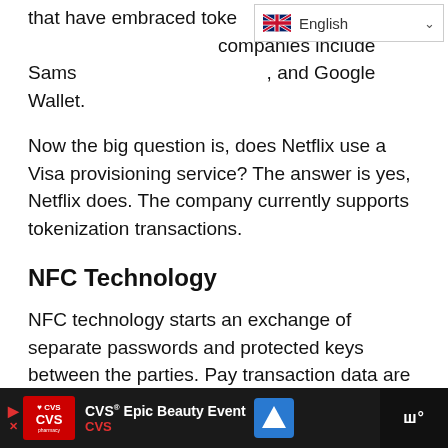that have embraced tokenization. These companies include Samsung Pay, Apple Pay, and Google Wallet.
Now the big question is, does Netflix use a Visa provisioning service? The answer is yes, Netflix does. The company currently supports tokenization transactions.
NFC Technology
NFC technology starts an exchange of separate passwords and protected keys between the parties. Pay transaction data are subsequently moved to the customer's mobile phones.
[Figure (screenshot): CVS Epic Beauty Event advertisement banner at the bottom of the page]